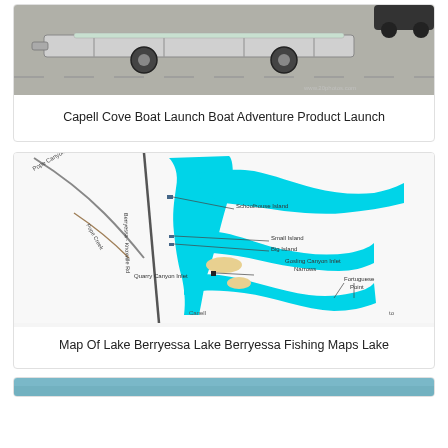[Figure (photo): A boat trailer on a paved surface/parking lot, photo of single-axle boat trailer with tires on asphalt.]
Capell Cove Boat Launch Boat Adventure Product Launch
[Figure (map): Map of Lake Berryessa showing landmarks: Schoolhouse Island, Small Island, Big Island, Gosling Canyon Inlet Narrows, Quarry Canyon Inlet, Fortuguese Point, Pope Canyon Road, Pope Creek, Berryessa-Knoxville Rd, Canell, with cyan blue water areas.]
Map Of Lake Berryessa Lake Berryessa Fishing Maps Lake
[Figure (photo): Partial view of a third card at the bottom, appears to be a water/lake scene.]